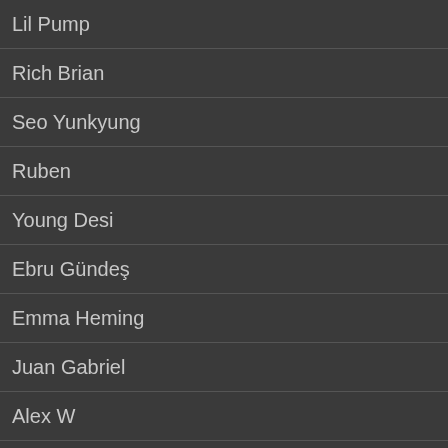Lil Pump
Rich Brian
Seo Yunkyung
Ruben
Young Desi
Ebru Gündeş
Emma Heming
Juan Gabriel
Alex W
MONTHLY POPULAR
RPT MCK
Harsh Upadhyay
Kelvin Jones
Park Sobyuk